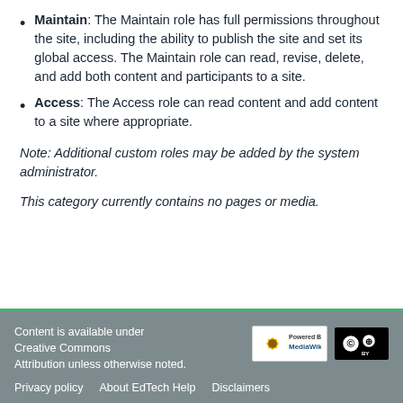Maintain: The Maintain role has full permissions throughout the site, including the ability to publish the site and set its global access. The Maintain role can read, revise, delete, and add both content and participants to a site.
Access: The Access role can read content and add content to a site where appropriate.
Note: Additional custom roles may be added by the system administrator.
This category currently contains no pages or media.
Content is available under Creative Commons Attribution unless otherwise noted.
Privacy policy   About EdTech Help   Disclaimers